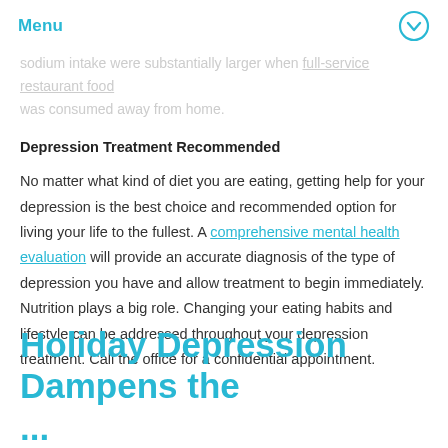Menu
sodium intake were substantially larger when full-service restaurant food was consumed away from home.
Depression Treatment Recommended
No matter what kind of diet you are eating, getting help for your depression is the best choice and recommended option for living your life to the fullest. A comprehensive mental health evaluation will provide an accurate diagnosis of the type of depression you have and allow treatment to begin immediately. Nutrition plays a big role. Changing your eating habits and lifestyle can be addressed throughout your depression treatment. Call the office for a confidential appointment.
Holiday Depression Dampens the